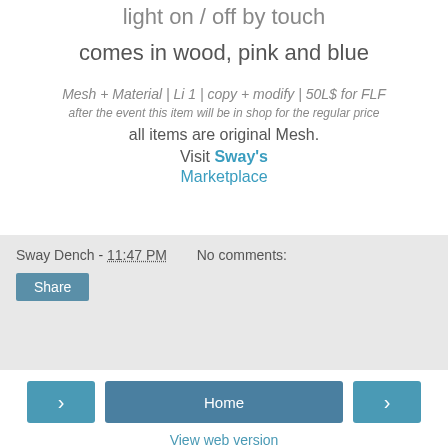light on / off by touch
comes in wood, pink and blue
Mesh + Material | Li 1 | copy + modify | 50L$ for FLF
after the event this item will be in shop for the regular price
all items are original Mesh.
Visit Sway's Marketplace
Sway Dench - 11:47 PM   No comments:
Share
Home
View web version